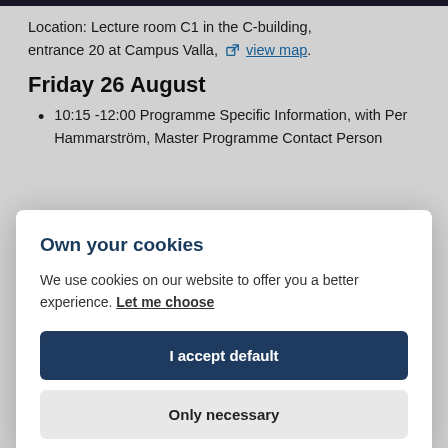Location: Lecture room C1 in the C-building, entrance 20 at Campus Valla, view map.
Friday 26 August
10:15 -12:00 Programme Specific Information, with Per Hammarström, Master Programme Contact Person
Own your cookies
We use cookies on our website to offer you a better experience. Let me choose
I accept default
Only necessary
Registration guidance